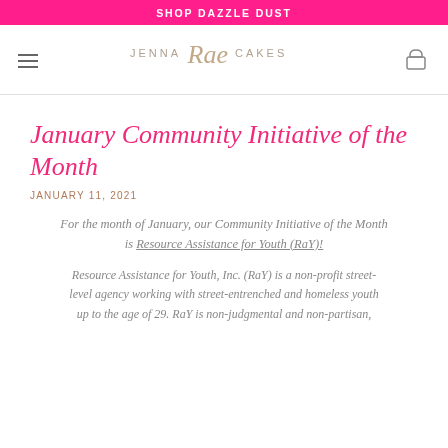SHOP DAZZLE DUST
[Figure (logo): Jenna Rae Cakes logo with script and sans-serif lettering]
January Community Initiative of the Month
JANUARY 11, 2021
For the month of January, our Community Initiative of the Month is Resource Assistance for Youth (RaY)!
Resource Assistance for Youth, Inc. (RaY) is a non-profit street-level agency working with street-entrenched and homeless youth up to the age of 29. RaY is non-judgmental and non-partisan,